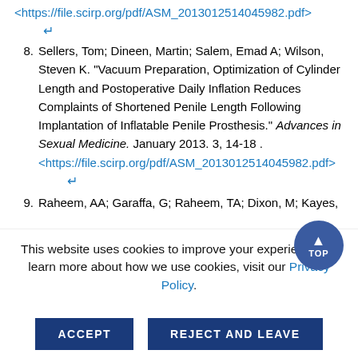<https://file.scirp.org/pdf/ASM_2013012514045982.pdf> ↵
8. Sellers, Tom; Dineen, Martin; Salem, Emad A; Wilson, Steven K. "Vacuum Preparation, Optimization of Cylinder Length and Postoperative Daily Inflation Reduces Complaints of Shortened Penile Length Following Implantation of Inflatable Penile Prosthesis." Advances in Sexual Medicine. January 2013. 3, 14-18 . <https://file.scirp.org/pdf/ASM_2013012514045982.pdf> ↵
9. Raheem, AA; Garaffa, G; Raheem, TA; Dixon, M; Kayes, ...
This website uses cookies to improve your experience. To learn more about how we use cookies, visit our Privacy Policy.
ACCEPT   REJECT AND LEAVE